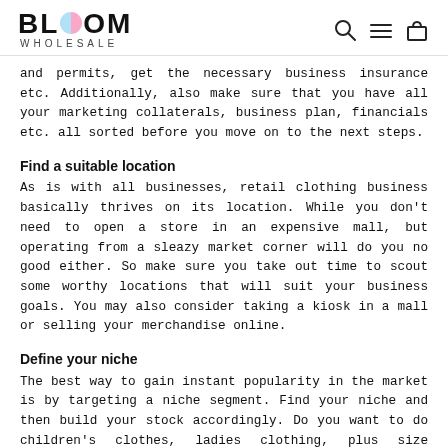BLOOM WHOLESALE
and permits, get the necessary business insurance etc. Additionally, also make sure that you have all your marketing collaterals, business plan, financials etc. all sorted before you move on to the next steps.
Find a suitable location
As is with all businesses, retail clothing business basically thrives on its location. While you don't need to open a store in an expensive mall, but operating from a sleazy market corner will do you no good either. So make sure you take out time to scout some worthy locations that will suit your business goals. You may also consider taking a kiosk in a mall or selling your merchandise online.
Define your niche
The best way to gain instant popularity in the market is by targeting a niche segment. Find your niche and then build your stock accordingly. Do you want to do children's clothes, ladies clothing, plus size clothing, men's clothing? If you don't have a clear idea or a preference, then study the location you are planning to start a store and fulfil the gap present in that market.